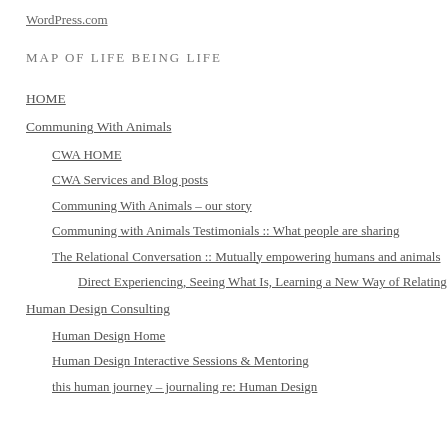WordPress.com
MAP OF LIFE BEING LIFE
HOME
Communing With Animals
CWA HOME
CWA Services and Blog posts
Communing With Animals – our story
Communing with Animals Testimonials :: What people are sharing
The Relational Conversation :: Mutually empowering humans and animals
Direct Experiencing, Seeing What Is, Learning a New Way of Relating
Human Design Consulting
Human Design Home
Human Design Interactive Sessions & Mentoring
this human journey – journaling re: Human Design